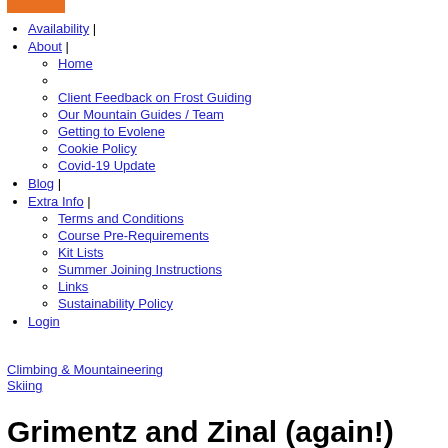Availability |
About |
Home
Client Feedback on Frost Guiding
Our Mountain Guides / Team
Getting to Evolene
Cookie Policy
Covid-19 Update
Blog |
Extra Info |
Terms and Conditions
Course Pre-Requirements
Kit Lists
Summer Joining Instructions
Links
Sustainability Policy
Login
Climbing & Mountaineering
Skiing
Grimentz and Zinal (again!)